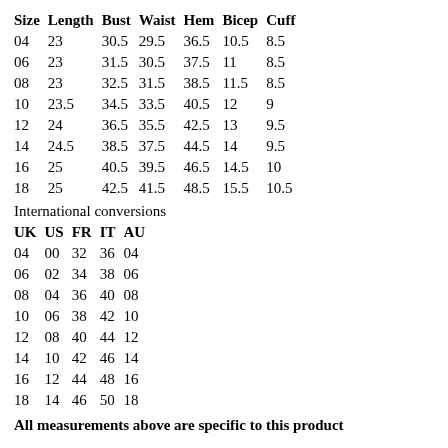| Size | Length | Bust | Waist | Hem | Bicep | Cuff |
| --- | --- | --- | --- | --- | --- | --- |
| 04 | 23 | 30.5 | 29.5 | 36.5 | 10.5 | 8.5 |
| 06 | 23 | 31.5 | 30.5 | 37.5 | 11 | 8.5 |
| 08 | 23 | 32.5 | 31.5 | 38.5 | 11.5 | 8.5 |
| 10 | 23.5 | 34.5 | 33.5 | 40.5 | 12 | 9 |
| 12 | 24 | 36.5 | 35.5 | 42.5 | 13 | 9.5 |
| 14 | 24.5 | 38.5 | 37.5 | 44.5 | 14 | 9.5 |
| 16 | 25 | 40.5 | 39.5 | 46.5 | 14.5 | 10 |
| 18 | 25 | 42.5 | 41.5 | 48.5 | 15.5 | 10.5 |
International conversions
| UK | US | FR | IT | AU |
| --- | --- | --- | --- | --- |
| 04 | 00 | 32 | 36 | 04 |
| 06 | 02 | 34 | 38 | 06 |
| 08 | 04 | 36 | 40 | 08 |
| 10 | 06 | 38 | 42 | 10 |
| 12 | 08 | 40 | 44 | 12 |
| 14 | 10 | 42 | 46 | 14 |
| 16 | 12 | 44 | 48 | 16 |
| 18 | 14 | 46 | 50 | 18 |
All measurements above are specific to this product